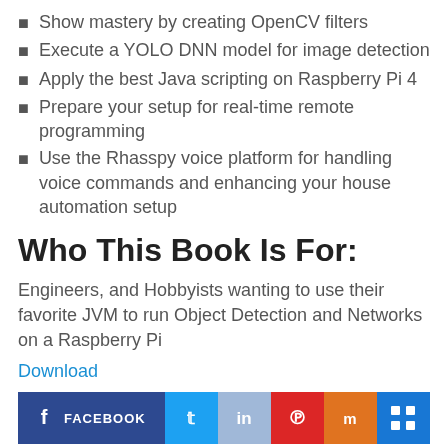Show mastery by creating OpenCV filters
Execute a YOLO DNN model for image detection
Apply the best Java scripting on Raspberry Pi 4
Prepare your setup for real-time remote programming
Use the Rhasspy voice platform for handling voice commands and enhancing your house automation setup
Who This Book Is For:
Engineers, and Hobbyists wanting to use their favorite JVM to run Object Detection and Networks on a Raspberry Pi
Download
[Figure (infographic): Social sharing buttons: Facebook, Twitter, LinkedIn, Pinterest, Mix, and a grid/more button]